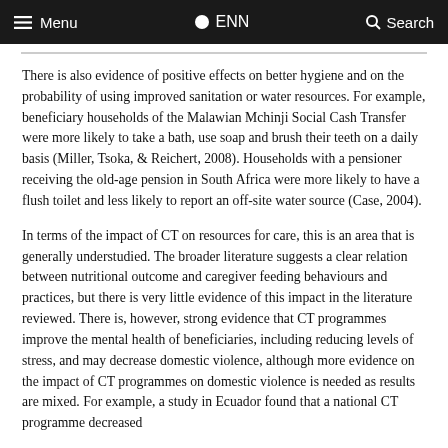Menu  ENN  Search
There is also evidence of positive effects on better hygiene and on the probability of using improved sanitation or water resources. For example, beneficiary households of the Malawian Mchinji Social Cash Transfer were more likely to take a bath, use soap and brush their teeth on a daily basis (Miller, Tsoka, & Reichert, 2008). Households with a pensioner receiving the old-age pension in South Africa were more likely to have a flush toilet and less likely to report an off-site water source (Case, 2004).
In terms of the impact of CT on resources for care, this is an area that is generally understudied. The broader literature suggests a clear relation between nutritional outcome and caregiver feeding behaviours and practices, but there is very little evidence of this impact in the literature reviewed. There is, however, strong evidence that CT programmes improve the mental health of beneficiaries, including reducing levels of stress, and may decrease domestic violence, although more evidence on the impact of CT programmes on domestic violence is needed as results are mixed. For example, a study in Ecuador found that a national CT programme decreased